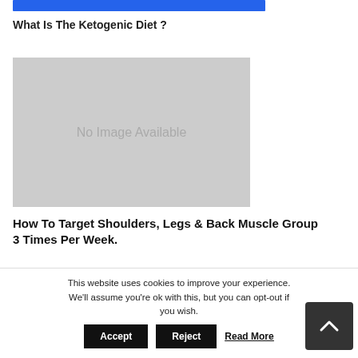[Figure (other): Blue horizontal bar at top of page]
What Is The Ketogenic Diet ?
[Figure (photo): No Image Available placeholder image]
How To Target Shoulders, Legs & Back Muscle Group 3 Times Per Week.
This website uses cookies to improve your experience. We'll assume you're ok with this, but you can opt-out if you wish.
Accept  Reject  Read More